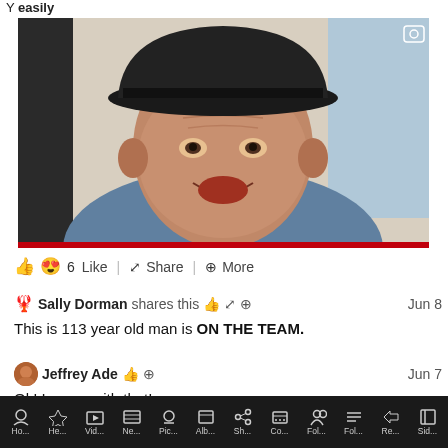[Figure (photo): Elderly man smiling, wearing a dark hat and grey/blue jacket, photographed from shoulders up. Red bar at bottom of image.]
👍 😍 6 Like   Share   More
🦞 Sally Dorman shares this   👍   share   +   Jun 8
This is 113 year old man is ON THE TEAM.
Jeffrey Ade   👍   +   Jun 7
Ok! I agree with that!
Ho... He... Vid... Ne... Pic... Alb... Sh... Co... Fol... Fol... Re... Sid...